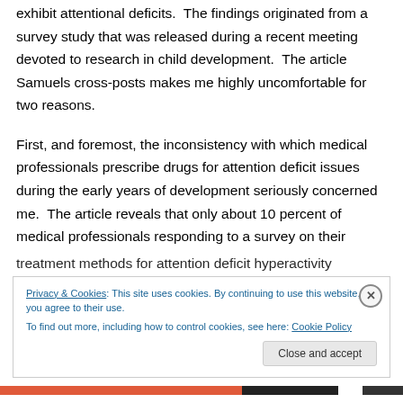exhibit attentional deficits.  The findings originated from a survey study that was released during a recent meeting devoted to research in child development.  The article Samuels cross-posts makes me highly uncomfortable for two reasons.
First, and foremost, the inconsistency with which medical professionals prescribe drugs for attention deficit issues during the early years of development seriously concerned me.  The article reveals that only about 10 percent of medical professionals responding to a survey on their treatment methods for attention deficit hyperactivity
Privacy & Cookies: This site uses cookies. By continuing to use this website, you agree to their use.
To find out more, including how to control cookies, see here: Cookie Policy